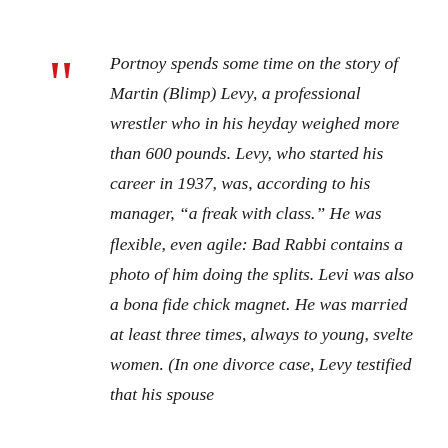Portnoy spends some time on the story of Martin (Blimp) Levy, a professional wrestler who in his heyday weighed more than 600 pounds. Levy, who started his career in 1937, was, according to his manager, “a freak with class.” He was flexible, even agile: Bad Rabbi contains a photo of him doing the splits. Levi was also a bona fide chick magnet. He was married at least three times, always to young, svelte women. (In one divorce case, Levy testified that his spouse